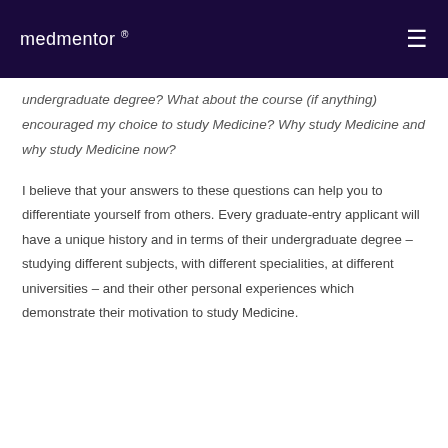medmentor ®
undergraduate degree? What about the course (if anything) encouraged my choice to study Medicine? Why study Medicine and why study Medicine now?
I believe that your answers to these questions can help you to differentiate yourself from others. Every graduate-entry applicant will have a unique history and in terms of their undergraduate degree – studying different subjects, with different specialities, at different universities – and their other personal experiences which demonstrate their motivation to study Medicine.